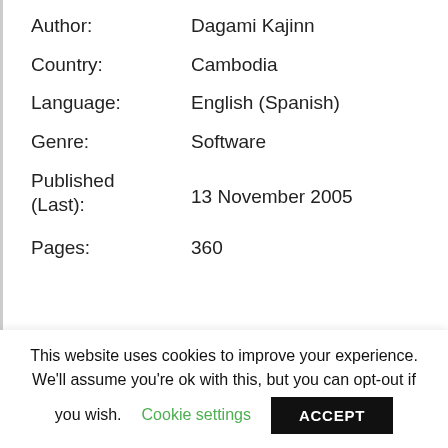Author: Dagami Kajinn
Country: Cambodia
Language: English (Spanish)
Genre: Software
Published (Last): 13 November 2005
Pages: 360
This website uses cookies to improve your experience. We'll assume you're ok with this, but you can opt-out if you wish.
Cookie settings
ACCEPT